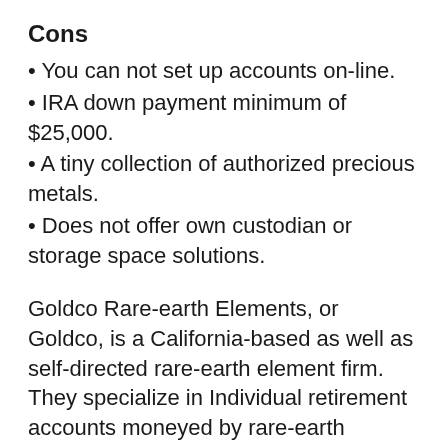Cons
You can not set up accounts on-line.
IRA down payment minimum of $25,000.
A tiny collection of authorized precious metals.
Does not offer own custodian or storage space solutions.
Goldco Rare-earth Elements, or Goldco, is a California-based as well as self-directed rare-earth element firm. They specialize in Individual retirement accounts moneyed by rare-earth elements, like gold, silver, platinum, palladium, or a combination of these accepted metals. Given that its begin in 2006, Goldco has invested its last years of experience giving clients with first-class customer support.